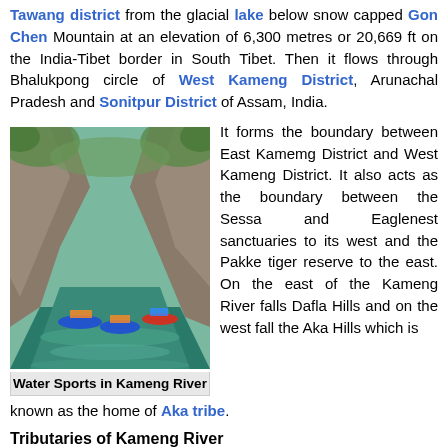Tawang district from the glacial lake below snow capped Gon Chen Mountain at an elevation of 6,300 metres or 20,669 ft on the India-Tibet border in South Tibet. Then it flows through Bhalukpong circle of West Kameng District, Arunachal Pradesh and Sonitpur District of Assam, India.
[Figure (photo): River rafting on Kameng River with kayaks and rafts on green water surrounded by rocky cliffs and forested hills]
Water Sports in Kameng River
It forms the boundary between East Kamemg District and West Kameng District. It also acts as the boundary between the Sessa and Eaglenest sanctuaries to its west and the Pakke tiger reserve to the east. On the east of the Kameng River falls Dafla Hills and on the west fall the Aka Hills which is known as the home of Aka tribe.
Tributaries of Kameng River
The eastern part of Eaglenest-Sessa Wildlife sanctuaries is shattered by the Tippi Naala or Tippi River, which joins Bhareli River at the village of Tippi on the Bhalukpong-Bomdila highway. The other major rivers like Tenga, Bichom and Dirang Chu in the West Bhareli District are also tributaries of the Bhareli.
Flora of Kameng River
Earlier there was a long stretch of forest along the Bhalukpong-